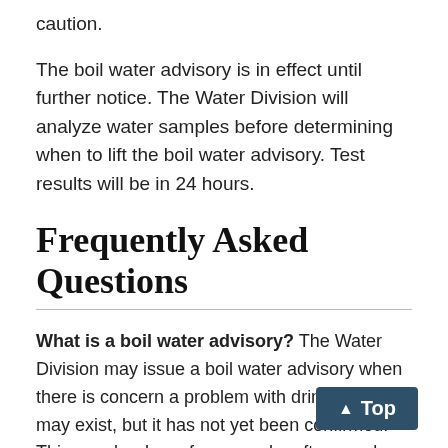caution.
The boil water advisory is in effect until further notice. The Water Division will analyze water samples before determining when to lift the boil water advisory. Test results will be in 24 hours.
Frequently Asked Questions
What is a boil water advisory? The Water Division may issue a boil water advisory when there is concern a problem with drinking water may exist, but it has not yet been confirmed. This may be done, for example, after very low water pressure or a main break event and while waiting for the results from for confirmation in water samples collected for